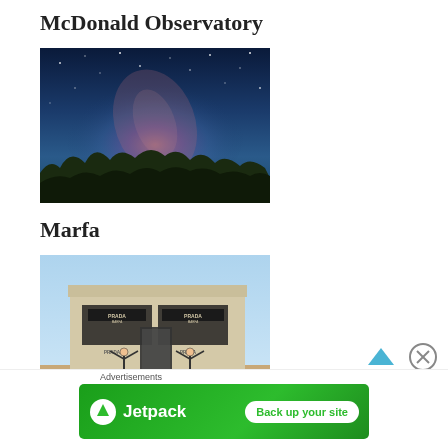McDonald Observatory
[Figure (photo): Night sky photo showing the Milky Way galaxy with pink/purple hues over a dark treeline silhouette]
Marfa
[Figure (photo): Photo of a Prada art installation building in a desert landscape with two people posing with arms raised in front of it]
Advertisements
[Figure (infographic): Jetpack advertisement banner with green background showing Jetpack logo and 'Back up your site' button]